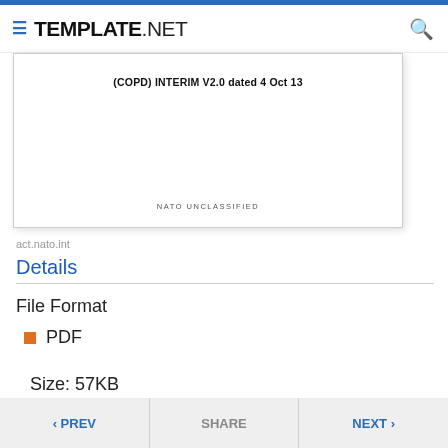TEMPLATE.NET
[Figure (screenshot): Document preview showing '(COPD) INTERIM V2.0 dated 4 Oct 13' title and 'NATO UNCLASSIFIED' footer on a white document page]
act.nato.int
Details
File Format
PDF
Size: 57KB
< PREV   SHARE   NEXT >